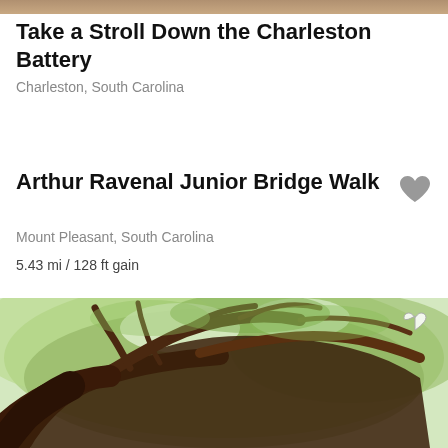[Figure (photo): Top portion of a photo visible at the very top of the page, showing a brownish/tan outdoor scene - partial view]
Take a Stroll Down the Charleston Battery
Charleston, South Carolina
Arthur Ravenal Junior Bridge Walk
Mount Pleasant, South Carolina
5.43 mi / 128 ft gain
[Figure (photo): Photo of large ancient oak tree branches spreading across the frame, viewed from below looking up through twisted dark branches against a bright green leafy canopy and sky. A white heart/favorite icon is visible in the top right corner of the image.]